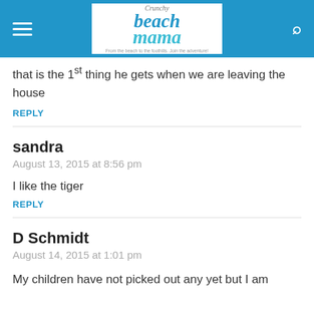Crunchy Beach Mama — From the beach to the foothills. Join the adventure!
that is the 1st thing he gets when we are leaving the house
REPLY
sandra
August 13, 2015 at 8:56 pm
I like the tiger
REPLY
D Schmidt
August 14, 2015 at 1:01 pm
My children have not picked out any yet but I am